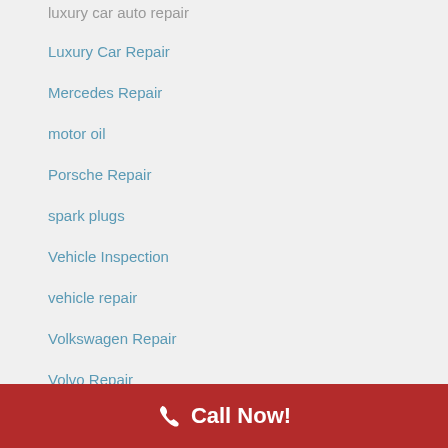luxury car auto repair
Luxury Car Repair
Mercedes Repair
motor oil
Porsche Repair
spark plugs
Vehicle Inspection
vehicle repair
Volkswagen Repair
Volvo Repair
ARCHIVES
Call Now!